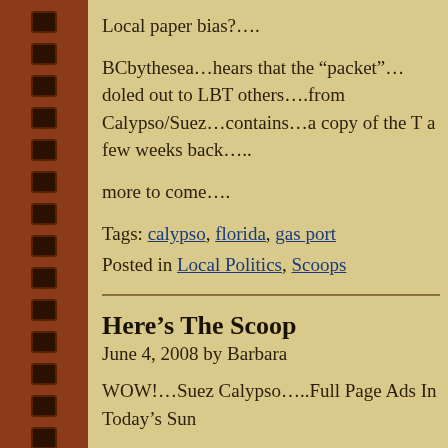Local paper bias?….
BCbythesea…hears that the “packet”…doled out to LBT others….from Calypso/Suez…contains…a copy of the T a few weeks back…..
more to come….
Tags: calypso, florida, gas port
Posted in Local Politics, Scoops
Here’s The Scoop
June 4, 2008 by Barbara
WOW!…Suez Calypso…..Full Page Ads In Today’s Sun
The Power of The Galt… and all…..Coastal Activists…